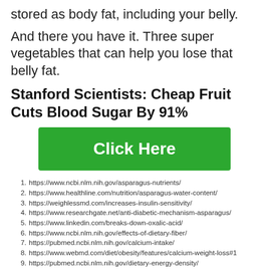stored as body fat, including your belly.
And there you have it. Three super vegetables that can help you lose that belly fat.
Stanford Scientists: Cheap Fruit Cuts Blood Sugar By 91%
[Figure (other): Green 'Click Here' call-to-action button]
1. https://www.ncbi.nlm.nih.gov/asparagus-nutrients/
2. https://www.healthline.com/nutrition/asparagus-water-content/
3. https://weighlessmd.com/increases-insulin-sensitivity/
4. https://www.researchgate.net/anti-diabetic-mechanism-asparagus/
5. https://www.linkedin.com/breaks-down-oxalic-acid/
6. https://www.ncbi.nlm.nih.gov/effects-of-dietary-fiber/
7. https://pubmed.ncbi.nlm.nih.gov/calcium-intake/
8. https://www.webmd.com/diet/obesity/features/calcium-weight-loss#1
9. https://pubmed.ncbi.nlm.nih.gov/dietary-energy-density/
10. https://www.hindustantimes.com/fitness/chlorophyll/
11. https://health.clevelandclinic.org/detoxification/
12. https://www.mensjournal.com/food-compounds-turn-off-fat-genes/
13. https://www.eatright.org/cruciferous-veggie-nutrition/
14. https://totalwellnesslife.com/cruciferous-veggies-help-reduce-belly-fat/